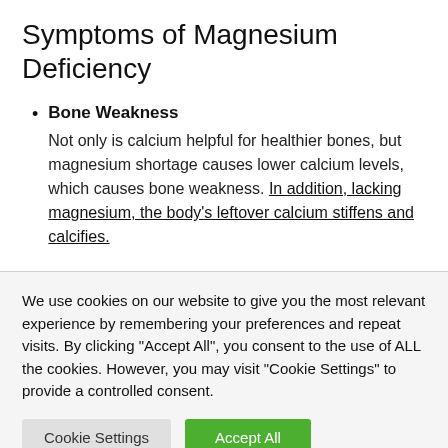Symptoms of Magnesium Deficiency
Bone Weakness — Not only is calcium helpful for healthier bones, but magnesium shortage causes lower calcium levels, which causes bone weakness. In addition, lacking magnesium, the body's leftover calcium stiffens and calcifies.
We use cookies on our website to give you the most relevant experience by remembering your preferences and repeat visits. By clicking "Accept All", you consent to the use of ALL the cookies. However, you may visit "Cookie Settings" to provide a controlled consent.